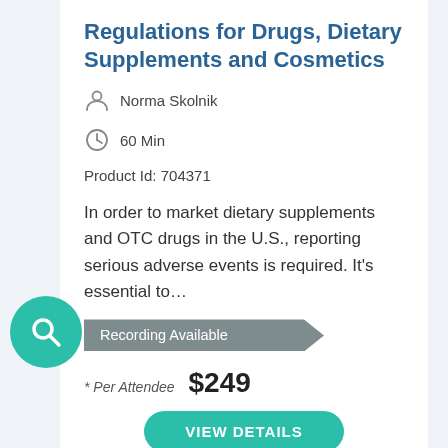Regulations for Drugs, Dietary Supplements and Cosmetics
Norma Skolnik
60 Min
Product Id: 704371
In order to market dietary supplements and OTC drugs in the U.S., reporting serious adverse events is required. It’s essential to…
Recording Available
* Per Attendee  $249
VIEW DETAILS